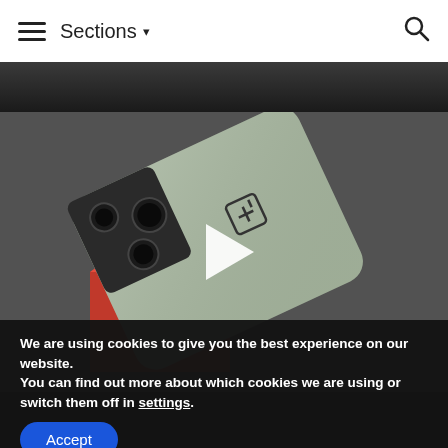≡ Sections ▾  🔍
[Figure (photo): Partial top of a photo showing a hand holding a smartphone, dark background]
[Figure (photo): OnePlus 10 Pro smartphone (mint/sage green color) resting on a red box, showing rear camera module with three lenses and OnePlus logo. A white play button triangle is overlaid indicating this is a video thumbnail.]
We are using cookies to give you the best experience on our website.
You can find out more about which cookies we are using or switch them off in settings.
Accept